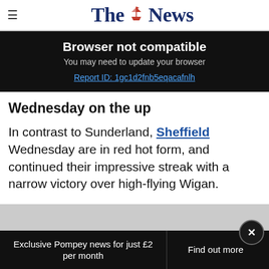The News
Browser not compatible
You may need to update your browser
Report ID: 1gc1d2fnb5eqacafnlh
Wednesday on the up
In contrast to Sunderland, Sheffield Wednesday are in red hot form, and continued their impressive streak with a narrow victory over high-flying Wigan.
Exclusive Pompey news for just £2 per month | Find out more